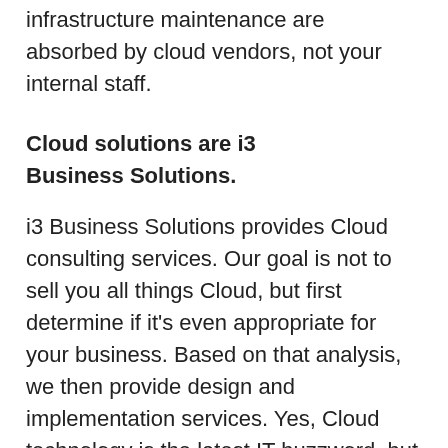infrastructure maintenance are absorbed by cloud vendors, not your internal staff.
Cloud solutions are i3 Business Solutions.
i3 Business Solutions provides Cloud consulting services. Our goal is not to sell you all things Cloud, but first determine if it's even appropriate for your business. Based on that analysis, we then provide design and implementation services. Yes, Cloud technology is the latest IT buzzword, but it's justified. Only a few years ago, the industry didn't have the capacity or infrastructure to